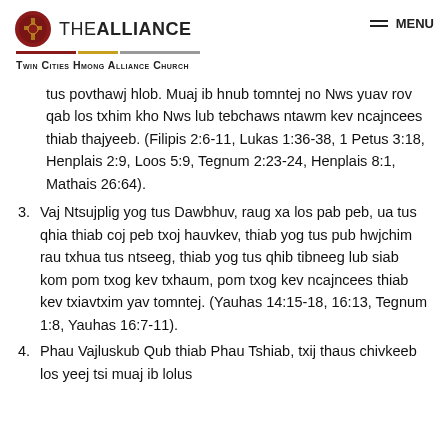THE ALLIANCE | Twin Cities Hmong Alliance Church | MENU
tus povthawj hlob. Muaj ib hnub tomntej no Nws yuav rov qab los txhim kho Nws lub tebchaws ntawm kev ncajncees thiab thajyeeb. (Filipis 2:6-11, Lukas 1:36-38, 1 Petus 3:18, Henplais 2:9, Loos 5:9, Tegnum 2:23-24, Henplais 8:1, Mathais 26:64).
3. Vaj Ntsujplig yog tus Dawbhuv, raug xa los pab peb, ua tus qhia thiab coj peb txoj hauvkev, thiab yog tus pub hwjchim rau txhua tus ntseeg, thiab yog tus qhib tibneeg lub siab kom pom txog kev txhaum, pom txog kev ncajncees thiab kev txiavtxim yav tomntej. (Yauhas 14:15-18, 16:13, Tegnum 1:8, Yauhas 16:7-11).
4. Phau Vajluskub Qub thiab Phau Tshiab, txij thaus chivkeeb los yeej tsi muaj ib lolus